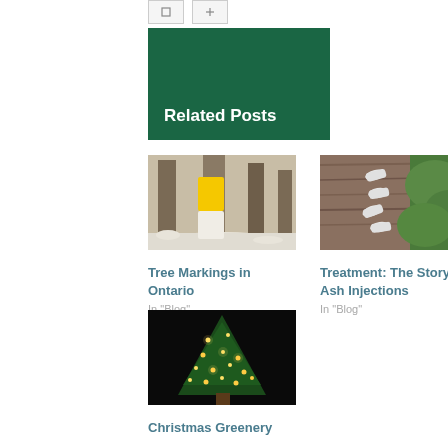Related Posts
[Figure (photo): Forest trail with yellow and white marker blazes on a tree trunk in winter snow]
Tree Markings in Ontario
In "Blog"
[Figure (photo): White injection capsules inserted into the bark of a tree trunk with green leaves in background]
Treatment: The Story of Ash Injections
In "Blog"
[Figure (photo): A decorated Christmas tree with lights glowing at night against a dark background]
Christmas Greenery